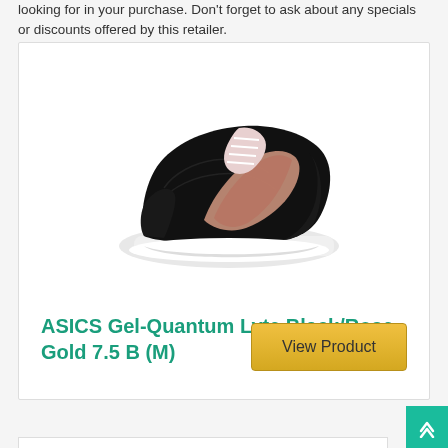looking for in your purchase. Don't forget to ask about any specials or discounts offered by this retailer.
[Figure (photo): ASICS Gel-Quantum Lyte sneaker in black with rose gold accents and white sole, shown from a side-front angle]
ASICS Gel-Quantum Lyte Black/Rose Gold 7.5 B (M)
View Product